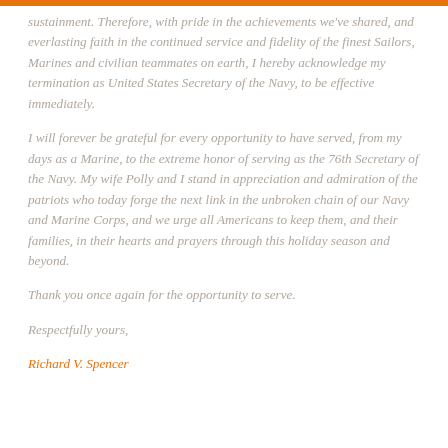sustainment. Therefore, with pride in the achievements we've shared, and everlasting faith in the continued service and fidelity of the finest Sailors, Marines and civilian teammates on earth, I hereby acknowledge my termination as United States Secretary of the Navy, to be effective immediately.
I will forever be grateful for every opportunity to have served, from my days as a Marine, to the extreme honor of serving as the 76th Secretary of the Navy. My wife Polly and I stand in appreciation and admiration of the patriots who today forge the next link in the unbroken chain of our Navy and Marine Corps, and we urge all Americans to keep them, and their families, in their hearts and prayers through this holiday season and beyond.
Thank you once again for the opportunity to serve.
Respectfully yours,
Richard V. Spencer